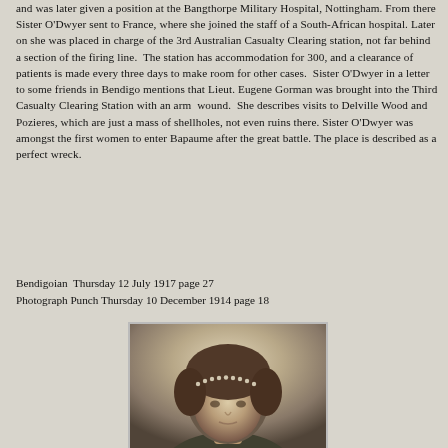and was later given a position at the Bangthorpe Military Hospital, Nottingham. From there Sister O'Dwyer sent to France, where she joined the staff of a South-African hospital. Later on she was placed in charge of the 3rd Australian Casualty Clearing station, not far behind a section of the firing line.  The station has accommodation for 300, and a clearance of patients is made every three days to make room for other cases.  Sister O'Dwyer in a letter to some friends in Bendigo mentions that Lieut. Eugene Gorman was brought into the Third Casualty Clearing Station with an arm  wound.  She describes visits to Delville Wood and Pozieres, which are just a mass of shellholes, not even ruins there. Sister O'Dwyer was amongst the first women to enter Bapaume after the great battle. The place is described as a perfect wreck.
Bendigoian  Thursday 12 July 1917 page 27
Photograph Punch Thursday 10 December 1914 page 18
[Figure (photo): Black and white photograph showing the head and upper shoulders of a woman (Sister O'Dwyer), viewed from slightly above. She has dark hair pinned up with a decorative headband. The image is cropped at the bottom and appears to be a vintage portrait photograph.]